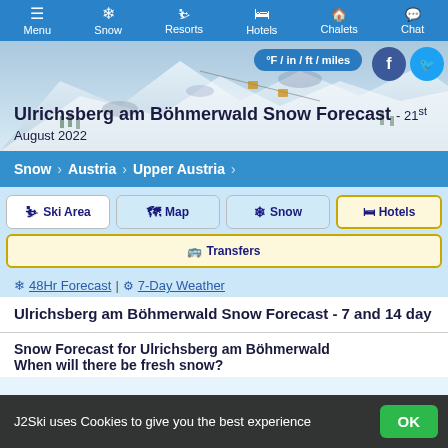Menu | Snow | Resorts | Hotels | Chalets | Chat
[Figure (screenshot): Hero banner with snowy mountain background]
Ulrichsberg am Böhmerwald Snow Forecast - 21st August 2022
Snow > Austria > Upper Austria
Ski Area | Map | Snow | Hotels | Transfers
48Hr Forecast | 7-Day Weather
Ulrichsberg am Böhmerwald Snow Forecast - 7 and 14 day
Snow Forecast for Ulrichsberg am Böhmerwald
When will there be fresh snow?
J2Ski uses Cookies to give you the best experience